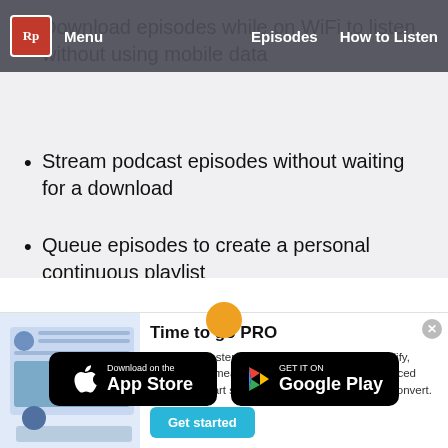RadioPublic — Menu | Episodes | How to Listen
Download episodes while on WiFi to listen without using mobile data
Stream podcast episodes without waiting for a download
Queue episodes to create a personal continuous playlist
[Figure (screenshot): App Store and Google Play download buttons on dark rounded-rectangle badges]
[Figure (illustration): RadioPublic PRO promotional popup with illustration of a podcast webpage, title 'Time to go PRO', description about RadioPublic PRO features, and a 'Get started' button]
Time to go PRO
Savvy podcasters use RadioPublic PRO to amplify, market, and measure their shows through enhanced embeds, smart sharing, and calls to action that convert.
Get started